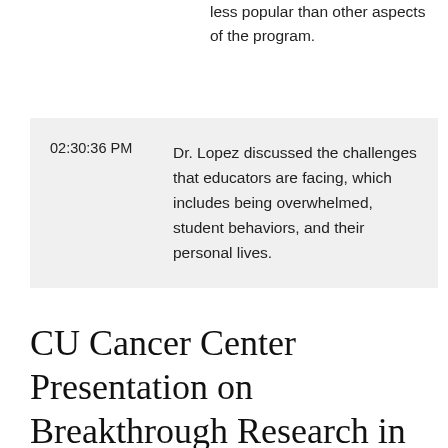less popular than other aspects of the program.
| Time | Content |
| --- | --- |
| 02:30:36 PM | Dr. Lopez discussed the challenges that educators are facing, which includes being overwhelmed, student behaviors, and their personal lives. |
CU Cancer Center Presentation on Breakthrough Research in the Treatment of